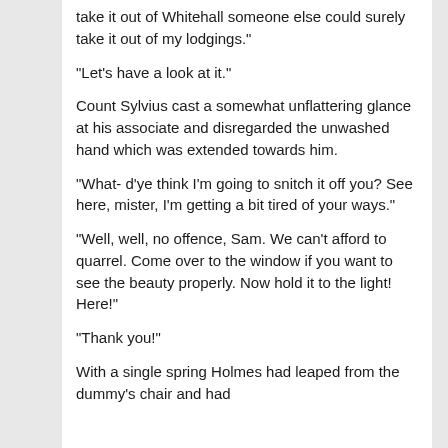take it out of Whitehall someone else could surely take it out of my lodgings."
"Let’s have a look at it."
Count Sylvius cast a somewhat unflattering glance at his associate and disregarded the unwashed hand which was extended towards him.
"What- d’ye think I’m going to snitch it off you? See here, mister, I’m getting a bit tired of your ways."
"Well, well, no offence, Sam. We can’t afford to quarrel. Come over to the window if you want to see the beauty properly. Now hold it to the light! Here!"
"Thank you!"
With a single spring Holmes had leaped from the dummy’s chair and had